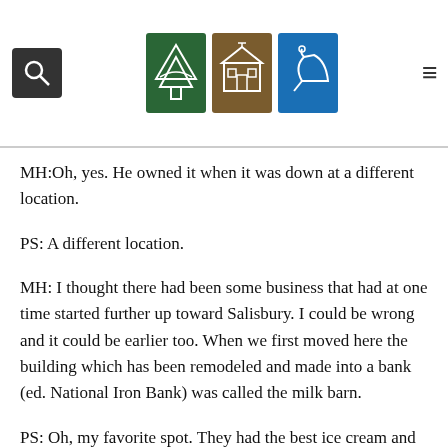PS No. Another ... you can still get er and supp...
MH:Oh, yes. He owned it when it was down at a different location.
PS: A different location.
MH: I thought there had been some business that had at one time started further up toward Salisbury. I could be wrong and it could be earlier too. When we first moved here the building which has been remodeled and made into a bank (ed. National Iron Bank) was called the milk barn.
PS: Oh, my favorite spot. They had the best ice cream and of course, we lived just practically across the road from them. So it was great to go down and when